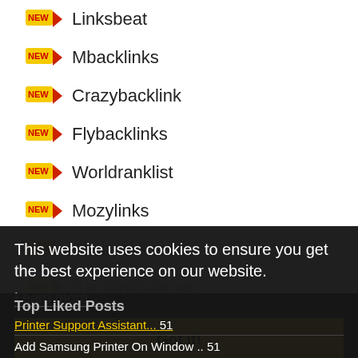Linksbeat
Mbacklinks
Crazybacklink
Flybacklinks
Worldranklist
Mozylinks
Skybacklinks
Backlinksplanet
This website uses cookies to ensure you get the best experience on our website.
Learn more
Got it!
Top Liked Posts
Printer Support Assistant... 51
Add Samsung Printer On Window .. 51